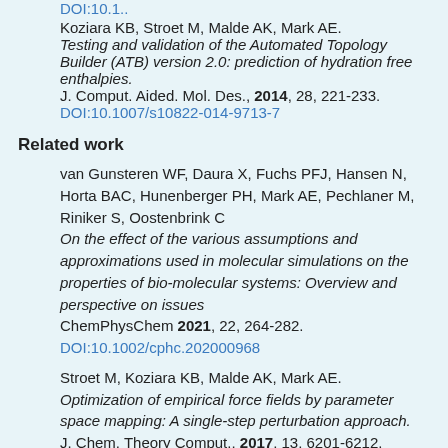Koziara KB, Stroet M, Malde AK, Mark AE. Testing and validation of the Automated Topology Builder (ATB) version 2.0: prediction of hydration free enthalpies. J. Comput. Aided. Mol. Des., 2014, 28, 221-233. DOI:10.1007/s10822-014-9713-7
Related work
van Gunsteren WF, Daura X, Fuchs PFJ, Hansen N, Horta BAC, Hunenberger PH, Mark AE, Pechlaner M, Riniker S, Oostenbrink C On the effect of the various assumptions and approximations used in molecular simulations on the properties of bio-molecular systems: Overview and perspective on issues ChemPhysChem 2021, 22, 264-282. DOI:10.1002/cphc.202000968
Stroet M, Koziara KB, Malde AK, Mark AE. Optimization of empirical force fields by parameter space mapping: A single-step perturbation approach. J. Chem. Theory Comput., 2017, 13, 6201-6212.